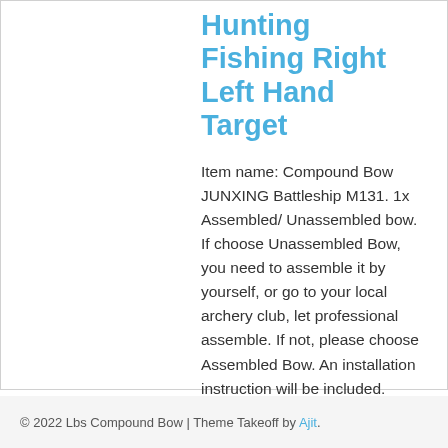Hunting Fishing Right Left Hand Target
Item name: Compound Bow JUNXING Battleship M131. 1x Assembled/ Unassembled bow. If choose Unassembled Bow, you need to assemble it by yourself, or go to your local archery club, let professional assemble. If not, please choose Assembled Bow. An installation instruction will be included. Color: Black Bow width:29cm Bow Length:97cm…
© 2022 Lbs Compound Bow | Theme Takeoff by Ajit.